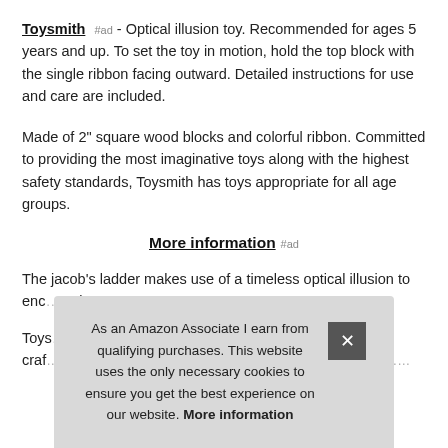Toysmith #ad - Optical illusion toy. Recommended for ages 5 years and up. To set the toy in motion, hold the top block with the single ribbon facing outward. Detailed instructions for use and care are included.
Made of 2" square wood blocks and colorful ribbon. Committed to providing the most imaginative toys along with the highest safety standards, Toysmith has toys appropriate for all age groups.
More information #ad
The jacob's ladder makes use of a timeless optical illusion to enc... wris...
Toys... craf...
As an Amazon Associate I earn from qualifying purchases. This website uses the only necessary cookies to ensure you get the best experience on our website. More information